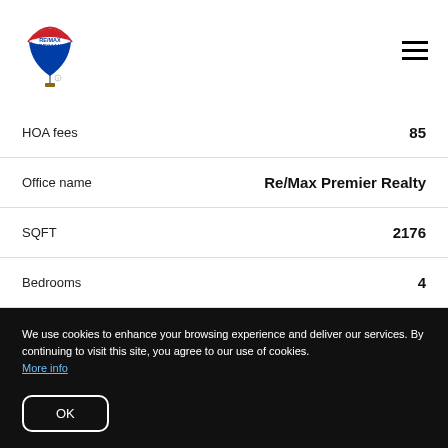[Figure (logo): RE/MAX hot air balloon logo in red, white, and blue with RE/MAX text]
| Field | Value |
| --- | --- |
| HOA fees | 85 |
| Office name | Re/Max Premier Realty |
| SQFT | 2176 |
| Bedrooms | 4 |
We use cookies to enhance your browsing experience and deliver our services. By continuing to visit this site, you agree to our use of cookies. More info
OK